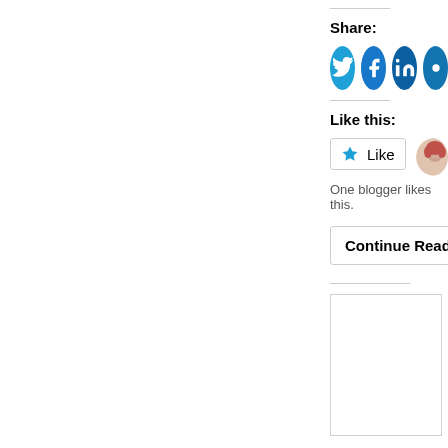Share:
[Figure (other): Social media share buttons: Twitter (bird icon), Facebook (f icon), LinkedIn (in icon), and one more partially visible, all circular dark blue buttons]
Like this:
[Figure (other): Like button widget with star icon and 'Like' text, alongside a small avatar photo of a person with red hair]
One blogger likes this.
Continue Reading
[Figure (other): Empty white box with light border, likely an image or widget placeholder]
James Fro